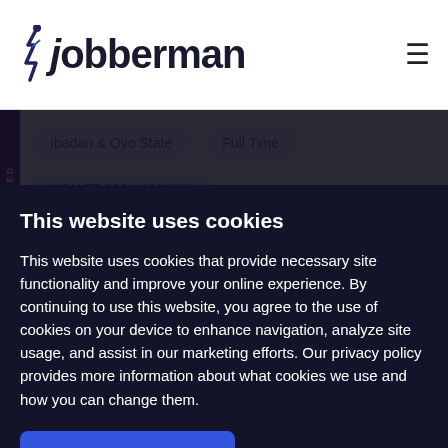Jobberman
Ibadan & Oyo State   Full Time
NGN 75,000 - 150,000
Job Function : Farming & Agriculture
ago
We are looking to hire a suitable candidate to fill this position.
Event Project Coordinator
This website uses cookies
This website uses cookies that provide necessary site functionality and improve your online experience. By continuing to use this website, you agree to the use of cookies on your device to enhance navigation, analyze site usage, and assist in our marketing efforts. Our privacy policy provides more information about what cookies we use and how you can change them.
Accept and Close
Learn More